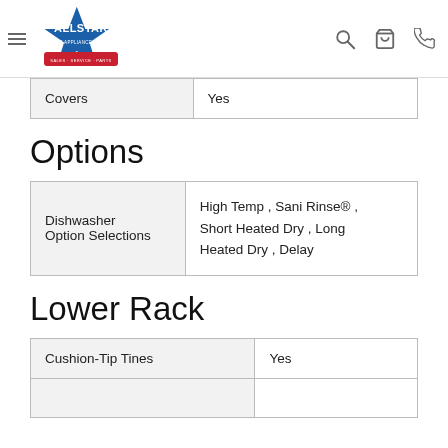Allstar Home Appliance Center — navigation header
|  |  |
| --- | --- |
| Covers | Yes |
Options
|  |  |
| --- | --- |
| Dishwasher Option Selections | High Temp , Sani Rinse® , Short Heated Dry , Long Heated Dry , Delay |
Lower Rack
|  |  |
| --- | --- |
| Cushion-Tip Tines | Yes |